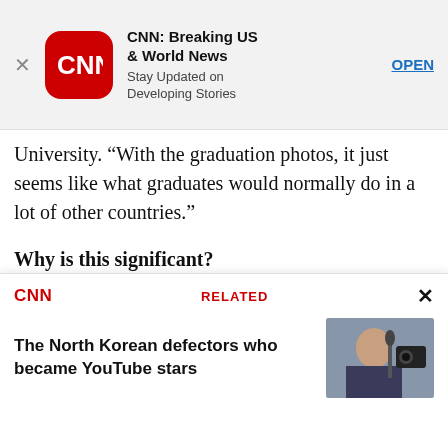[Figure (screenshot): CNN app advertisement banner with CNN logo, title 'CNN: Breaking US & World News', subtitle 'Stay Updated on Developing Stories', and OPEN button]
University. “With the graduation photos, it just seems like what graduates would normally do in a lot of other countries.”
Why is this significant?
“It perhaps says something about the freedom these young people feel now, especially when they’re graduating and free from school authorities. I doubt some of the behavior in these pictures would have
[Figure (screenshot): CNN Related content box showing 'The North Korean defectors who became YouTube stars' with thumbnail image of a woman in front of camera equipment]